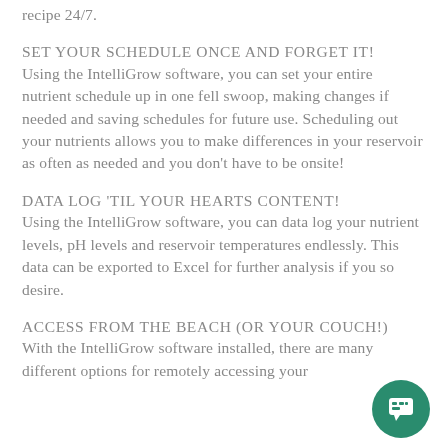recipe 24/7.
SET YOUR SCHEDULE ONCE AND FORGET IT!
Using the IntelliGrow software, you can set your entire nutrient schedule up in one fell swoop, making changes if needed and saving schedules for future use. Scheduling out your nutrients allows you to make differences in your reservoir as often as needed and you don't have to be onsite!
DATA LOG 'TIL YOUR HEARTS CONTENT!
Using the IntelliGrow software, you can data log your nutrient levels, pH levels and reservoir temperatures endlessly. This data can be exported to Excel for further analysis if you so desire.
ACCESS FROM THE BEACH (OR YOUR COUCH!)
With the IntelliGrow software installed, there are many different options for remotely accessing your